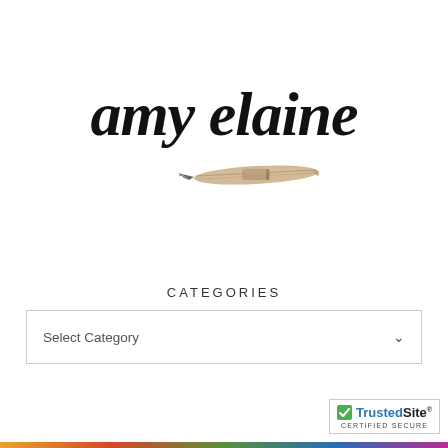[Figure (logo): Amy Elaine cursive script logo with a quill/feather pen illustration underneath the text]
CATEGORIES
[Figure (screenshot): Select Category dropdown box with a downward chevron arrow]
[Figure (logo): TrustedSite Certified Secure badge with green checkmark]
[Figure (other): Colorful bottom bar strip]